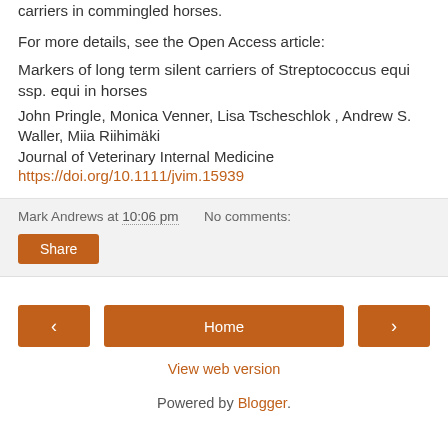carriers in commingled horses.
For more details, see the Open Access article:
Markers of long term silent carriers of Streptococcus equi ssp. equi in horses
John Pringle, Monica Venner, Lisa Tscheschlok , Andrew S. Waller, Miia Riihimäki
Journal of Veterinary Internal Medicine
https://doi.org/10.1111/jvim.15939
Mark Andrews at 10:06 pm   No comments:
Share
Home
View web version
Powered by Blogger.